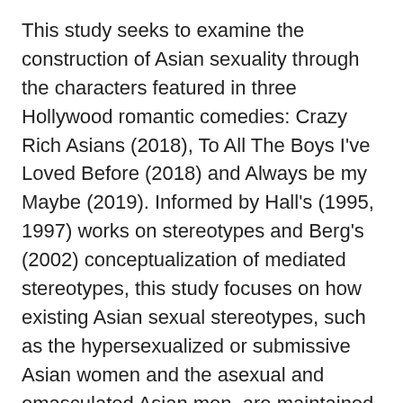This study seeks to examine the construction of Asian sexuality through the characters featured in three Hollywood romantic comedies: Crazy Rich Asians (2018), To All The Boys I've Loved Before (2018) and Always be my Maybe (2019). Informed by Hall's (1995, 1997) works on stereotypes and Berg's (2002) conceptualization of mediated stereotypes, this study focuses on how existing Asian sexual stereotypes, such as the hypersexualized or submissive Asian women and the asexual and emasculated Asian men, are maintained and challenged. The multimodal analysis that combined Critical Discourse Analysis and Visual Discourse Analysis revealed that traditional Asian sexual stereotypes such as the submissive Asian women or the Dragon Lady continue to exist in the storyline. The portrayals of Asian female characters are generally found to be more stereotypical than those of their male counterparts, with the only significant stereotype being the elevated status of Eurasian males compared to Asian